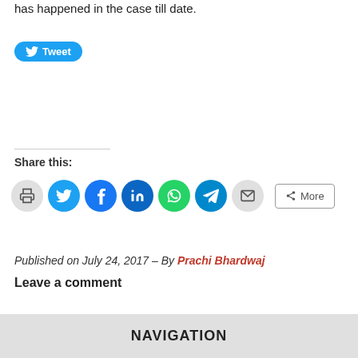has happened in the case till date.
[Figure (other): Tweet button (Twitter share button with bird icon)]
Share this:
[Figure (infographic): Row of social share icon buttons: print, Twitter, Facebook, LinkedIn, WhatsApp, Telegram, Email, and a More button]
Published on July 24, 2017 – By Prachi Bhardwaj
Leave a comment
NAVIGATION